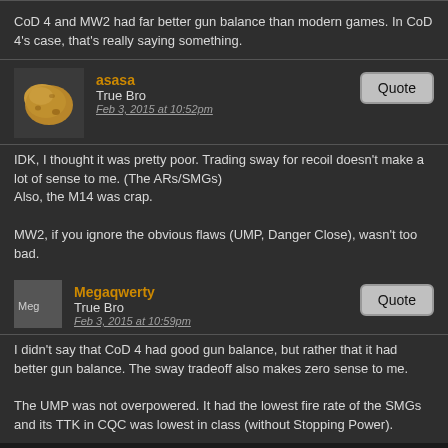CoD 4 and MW2 had far better gun balance than modern games. In CoD 4's case, that's really saying something.
asasa
True Bro
Feb 3, 2015 at 10:52pm
IDK, I thought it was pretty poor. Trading sway for recoil doesn't make a lot of sense to me. (The ARs/SMGs)
Also, the M14 was crap.

MW2, if you ignore the obvious flaws (UMP, Danger Close), wasn't too bad.
Megaqwerty
True Bro
Feb 3, 2015 at 10:59pm
I didn't say that CoD 4 had good gun balance, but rather that it had better gun balance. The sway tradeoff also makes zero sense to me.

The UMP was not overpowered. It had the lowest fire rate of the SMGs and its TTK in CQC was lowest in class (without Stopping Power).